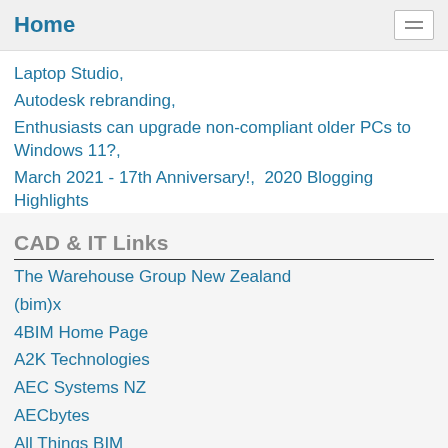Home
Laptop Studio,
Autodesk rebranding,
Enthusiasts can upgrade non-compliant older PCs to Windows 11?,
March 2021 - 17th Anniversary!,  2020 Blogging Highlights
CAD & IT Links
The Warehouse Group New Zealand
(bim)x
4BIM Home Page
A2K Technologies
AEC Systems NZ
AECbytes
All Things BIM
Architechure